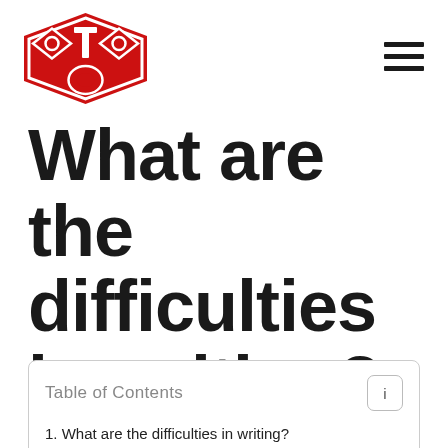[Figure (logo): OTTO logo — red diamond/hexagon shape with stylized OTO lettering in white]
What are the difficulties in writing?
| Table of Contents |
| --- |
| 1. What are the difficulties in writing? |
| 2. How do you fix writing? |
| 3. What is problem solution writing? |
| 4. How do you identify problems and solutions? |